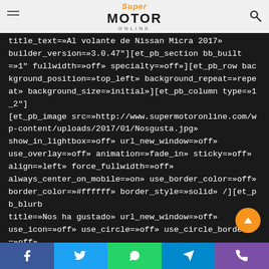SuperMotor Online navigation bar with logo
title_text=»Al volante de Nissan Micra 2017» builder_version=»3.0.47″][et_pb_section bb_built=»1″ fullwidth=»off» specialty=»off»][et_pb_row background_position=»top_left» background_repeat=»repeat» background_size=»initial»][et_pb_column type=»1_2″] [et_pb_image src=»http://www.supermotoronline.com/wp-content/uploads/2017/01/Nosgusta.jpg» show_in_lightbox=»off» url_new_window=»off» use_overlay=»off» animation=»fade_in» sticky=»off» align=»left» force_fullwidth=»off» always_center_on_mobile=»on» use_border_color=»off» border_color=»#ffffff» border_style=»solid» /][et_pb_blurb title=»Nos ha gustado» url_new_window=»off» use_icon=»off» use_circle=»off» use_circle_border=»off» image=»http://www.supermotoronline.com/wp-content/uploads/2017/01/Nosgusta.jpg»
Facebook Twitter WhatsApp Telegram Phone social share bar